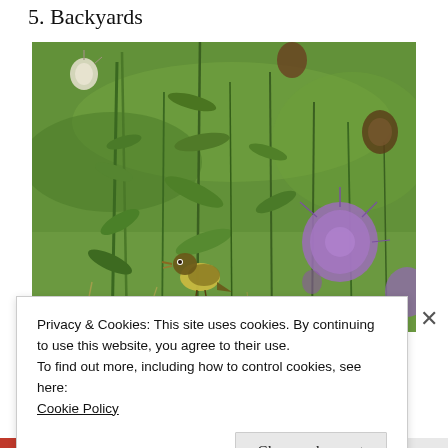5. Backyards
[Figure (photo): A small yellow-green bird perched on a plant stem among tall green wild plants with purple thistle-like flowers, against a blurred green background.]
Privacy & Cookies: This site uses cookies. By continuing to use this website, you agree to their use.
To find out more, including how to control cookies, see here:
Cookie Policy
Close and accept